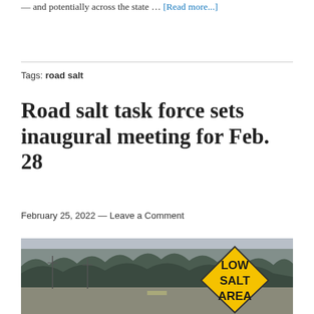— and potentially across the state … [Read more...]
Tags: road salt
Road salt task force sets inaugural meeting for Feb. 28
February 25, 2022 — Leave a Comment
[Figure (photo): A yellow diamond-shaped road sign reading 'LOW SALT AREA' on a snowy road with trees in the background]